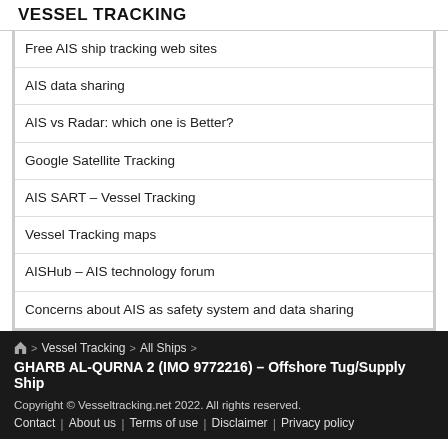VESSEL TRACKING
Free AIS ship tracking web sites
AIS data sharing
AIS vs Radar: which one is Better?
Google Satellite Tracking
AIS SART – Vessel Tracking
Vessel Tracking maps
AISHub – AIS technology forum
Concerns about AIS as safety system and data sharing
🏠 > Vessel Tracking > All Ships > GHARB AL-QURNA 2 (IMO 9772216) – Offshore Tug/Supply Ship
Copyright © Vesseltracking.net 2022. All rights reserved.
Contact | About us | Terms of use | Disclaimer | Privacy policy